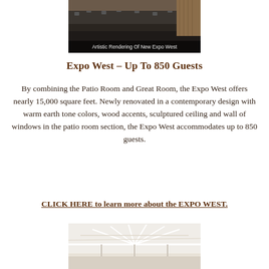[Figure (photo): Interior photo of Expo West event space showing tables and chairs arranged in a large hall with a caption overlay reading 'Artistic Rendering Of New Expo West']
Expo West – Up To 850 Guests
By combining the Patio Room and Great Room, the Expo West offers nearly 15,000 square feet. Newly renovated in a contemporary design with warm earth tone colors, wood accents, sculptured ceiling and wall of windows in the patio room section, the Expo West accommodates up to 850 guests.
CLICK HERE to learn more about the EXPO WEST.
[Figure (photo): Interior photo of Expo West showing ceiling structure with white beams and trusses]